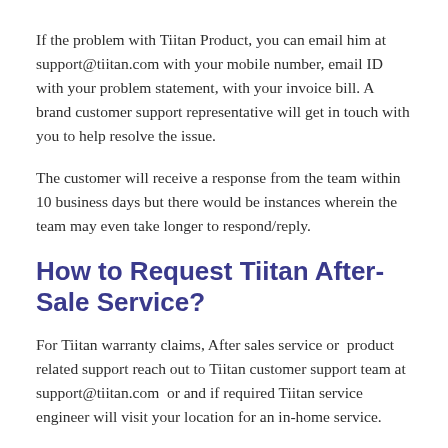If the problem with Tiitan Product, you can email him at support@tiitan.com with your mobile number, email ID with your problem statement, with your invoice bill. A brand customer support representative will get in touch with you to help resolve the issue.
The customer will receive a response from the team within 10 business days but there would be instances wherein the team may even take longer to respond/reply.
How to Request Tiitan After-Sale Service?
For Tiitan warranty claims, After sales service or  product related support reach out to Tiitan customer support team at support@tiitan.com  or and if required Tiitan service engineer will visit your location for an in-home service.